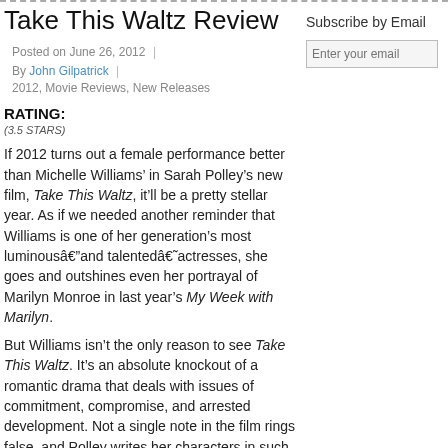Take This Waltz Review
Posted on June 26, 2012 | By John Gilpatrick |
2012, Movie Reviews, New Releases
Subscribe by Email
Enter your email
RATING:
(3.5 STARS)
If 2012 turns out a female performance better than Michelle Williams’ in Sarah Polley’s new film, Take This Waltz, it’ll be a pretty stellar year. As if we needed another reminder that Williams is one of her generation’s most luminousâ€”and talentedâ€˜actresses, she goes and outshines even her portrayal of Marilyn Monroe in last year’s My Week with Marilyn.
But Williams isn’t the only reason to see Take This Waltz. It’s an absolute knockout of a romantic drama that deals with issues of commitment, compromise, and arrested development. Not a single note in the film rings false, and Polley writes her characters in such a way that we neither root for nor condemn their actions.